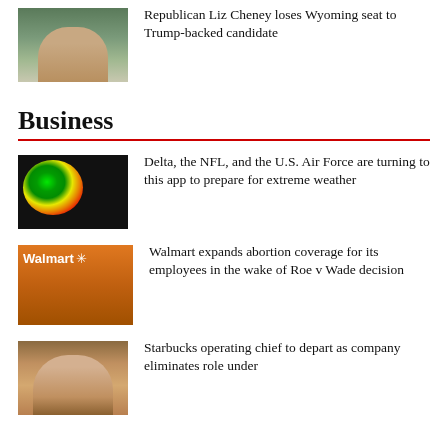[Figure (photo): Photo of Liz Cheney at a podium]
Republican Liz Cheney loses Wyoming seat to Trump-backed candidate
Business
[Figure (photo): Weather radar map showing storm system]
Delta, the NFL, and the U.S. Air Force are turning to this app to prepare for extreme weather
[Figure (photo): Walmart store exterior with Walmart logo]
Walmart expands abortion coverage for its employees in the wake of Roe v Wade decision
[Figure (photo): Starbucks operating chief portrait]
Starbucks operating chief to depart as company eliminates role under